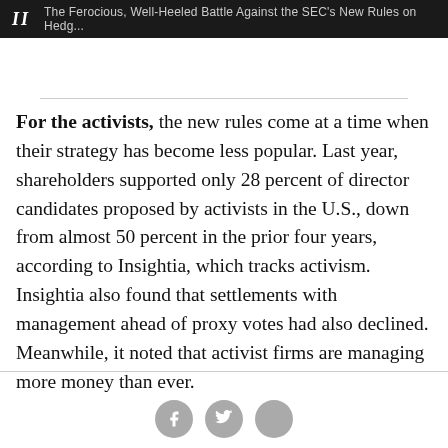II  The Ferocious, Well-Heeled Battle Against the SEC's New Rules on Hedg...
For the activists, the new rules come at a time when their strategy has become less popular. Last year, shareholders supported only 28 percent of director candidates proposed by activists in the U.S., down from almost 50 percent in the prior four years, according to Insightia, which tracks activism. Insightia also found that settlements with management ahead of proxy votes had also declined. Meanwhile, it noted that activist firms are managing more money than ever.